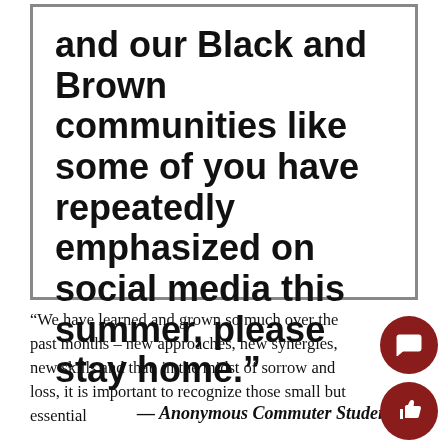and our Black and Brown communities like some of you have repeatedly emphasized on social media this summer, please stay home."
— Anonymous Commuter Student
“We have learned and grown so much over the past months – new approaches, new synergies, new skills and that, in the midst of sorrow and loss, it is important to recognize those small but essential